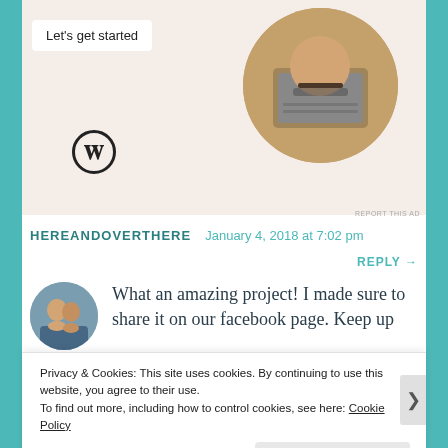[Figure (screenshot): Advertisement banner with 'Let's get started' button, WordPress logo, and circular photo of person typing on laptop]
HEREANDOVERTHERE   January 4, 2018 at 7:02 pm
REPLY →
[Figure (photo): Circular avatar of two people posing together outdoors]
What an amazing project! I made sure to share it on our facebook page. Keep up
Privacy & Cookies: This site uses cookies. By continuing to use this website, you agree to their use.
To find out more, including how to control cookies, see here: Cookie Policy
Close and accept